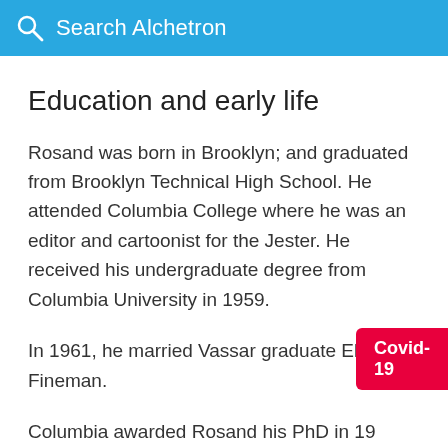Search Alchetron
Education and early life
Rosand was born in Brooklyn; and graduated from Brooklyn Technical High School. He attended Columbia College where he was an editor and cartoonist for the Jester. He received his undergraduate degree from Columbia University in 1959.
In 1961, he married Vassar graduate Ellen Fineman.
Columbia awarded Rosand his PhD in 19...